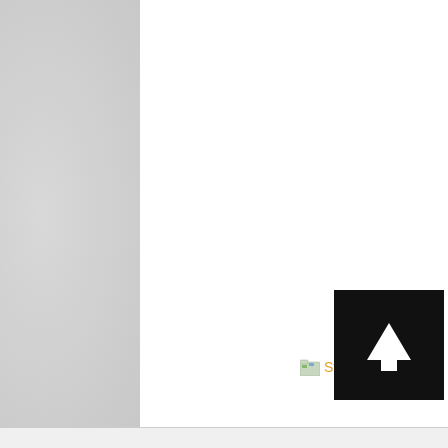[Figure (screenshot): Left navigation panel with gray textured background]
Star Wars
[Figure (other): Black square button with white upward arrow for navigation]